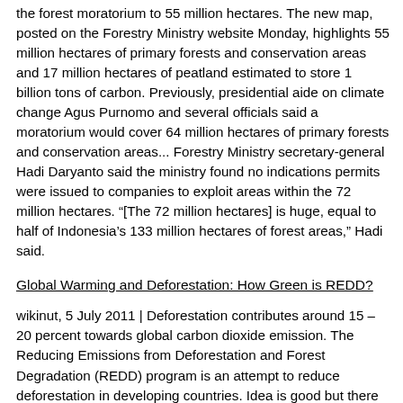the forest moratorium to 55 million hectares. The new map, posted on the Forestry Ministry website Monday, highlights 55 million hectares of primary forests and conservation areas and 17 million hectares of peatland estimated to store 1 billion tons of carbon. Previously, presidential aide on climate change Agus Purnomo and several officials said a moratorium would cover 64 million hectares of primary forests and conservation areas... Forestry Ministry secretary-general Hadi Daryanto said the ministry found no indications permits were issued to companies to exploit areas within the 72 million hectares. “[The 72 million hectares] is huge, equal to half of Indonesia’s 133 million hectares of forest areas,” Hadi said.
Global Warming and Deforestation: How Green is REDD?
wikinut, 5 July 2011 | Deforestation contributes around 15 – 20 percent towards global carbon dioxide emission. The Reducing Emissions from Deforestation and Forest Degradation (REDD) program is an attempt to reduce deforestation in developing countries. Idea is good but there are objections about its possible adverse consequences, particularly on indigenous people.